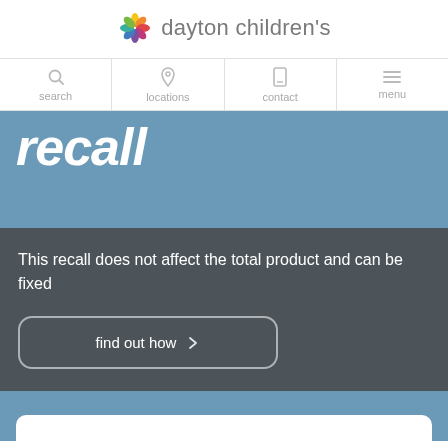dayton children's
search  locations  contact  menu
recall
This recall does not affect the total product and can be fixed
find out how